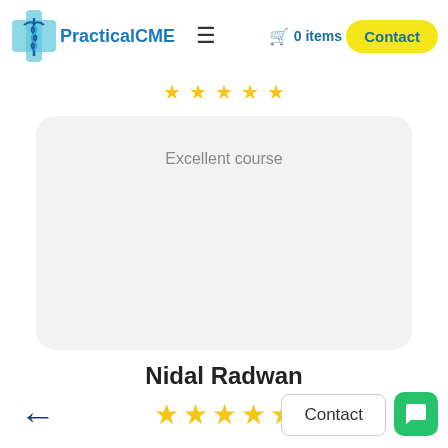PracticalCME — 0 items — Contact
[Figure (screenshot): PracticalCME website header with logo, hamburger menu, cart showing 0 items, and yellow Contact button]
Excellent course
Nidal Radwan
[Figure (other): 5 yellow star rating]
Contact
[Figure (other): Green chat button icon]